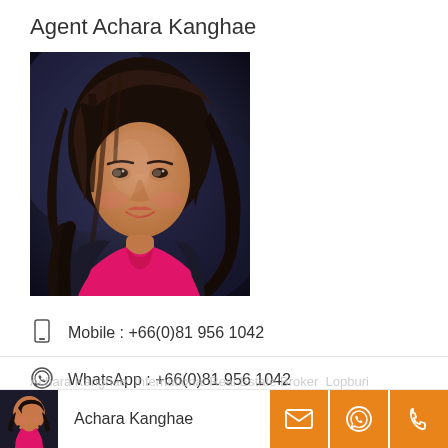Agent Achara Kanghae
[Figure (photo): Professional headshot of Achara Kanghae, a woman with long dark hair, wearing a pink/magenta top, photographed against a dark background]
Mobile : +66(0)81 956 1042
WhatsApp : +66(0)81 956 1042
Achara Kanghae  International Real Estate Broker  Lopburi
Achara Kanghae